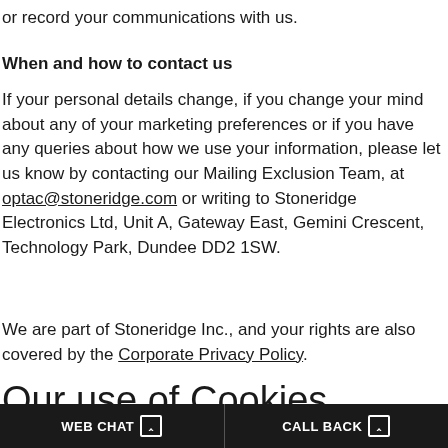or record your communications with us.
When and how to contact us
If your personal details change, if you change your mind about any of your marketing preferences or if you have any queries about how we use your information, please let us know by contacting our Mailing Exclusion Team, at optac@stoneridge.com or writing to Stoneridge Electronics Ltd, Unit A, Gateway East, Gemini Crescent, Technology Park, Dundee DD2 1SW.
We are part of Stoneridge Inc., and your rights are also covered by the Corporate Privacy Policy.
Our use of Cookies
When we provide services, we